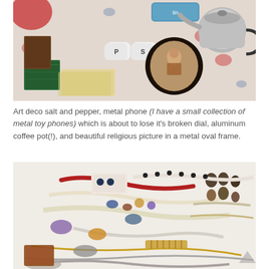[Figure (photo): Overhead view of antique/vintage items on a floral tablecloth: art deco salt and pepper shakers (P and S), a round metal oval frame with a religious picture, an aluminum coffee pot, a green book, and other collectibles.]
Art deco salt and pepper, metal phone (I have a small collection of metal toy phones) which is about to lose it's broken dial, aluminum coffee pot(!), and beautiful religious picture in a metal oval frame.
[Figure (photo): Flat lay of vintage jewelry collection on a white surface: necklaces, brooches, bracelets, earrings, and other costume jewelry in various colors and styles.]